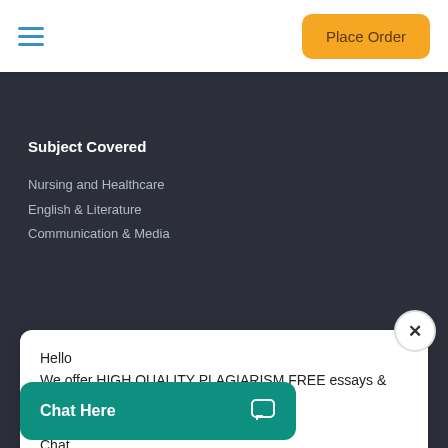Place Order
Subject Covered
Nursing and Healthcare
English & Literature
Communication & Media
Hello
We offer HIGH QUALITY PLAGIARISM FREE essays & termpapers.

Chat...
Chat Here